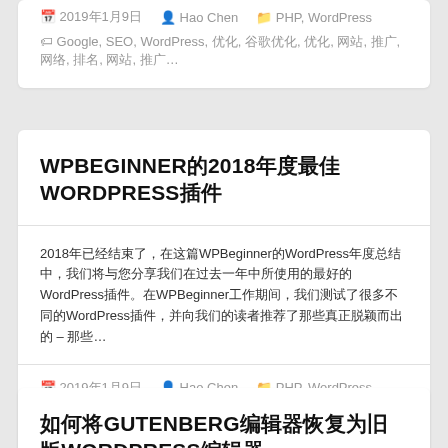2019年1月9日  Hao Chen  PHP, WordPress
Google, SEO, WordPress, 标签, 谷歌优化, 优化, 网站, 推广, 网络, 排名, 网站, 推广…
WPBEGINNER的2018年度最佳WORDPRESS插件
2018年已经结束了，在这篇WPBeginner的WordPress年度总结中，我们将与您分享我们在过去一年中所使用的最好的WordPress插件。在WPBeginner工作期间，我们测试了很多不同的WordPress插件，并向我们的读者推荐了那些真正脱颖而出的 – 那些…
2019年1月9日  Hao Chen  PHP, WordPress
Google, WooCommerce, WordPress, Wpbeginner, 插件, 🔒…
有2条评论
如何将GUTENBERG编辑器恢复为旧版WORDPRESS编辑器